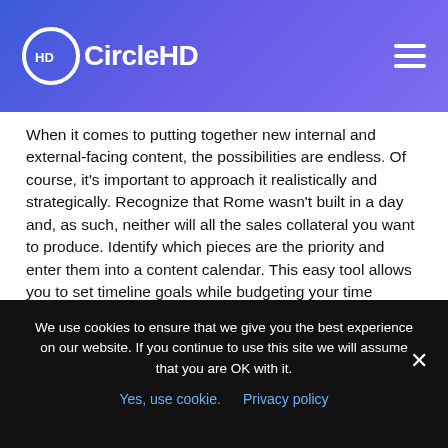CircleHD
When it comes to putting together new internal and external-facing content, the possibilities are endless. Of course, it's important to approach it realistically and strategically. Recognize that Rome wasn't built in a day and, as such, neither will all the sales collateral you want to produce. Identify which pieces are the priority and enter them into a content calendar. This easy tool allows you to set timeline goals while budgeting your time realistically.
But who says content needs to build itself or only be done by one person? Tap into subject matter experts
We use cookies to ensure that we give you the best experience on our website. If you continue to use this site we will assume that you are OK with it.
Yes, use cookie.   Privacy policy